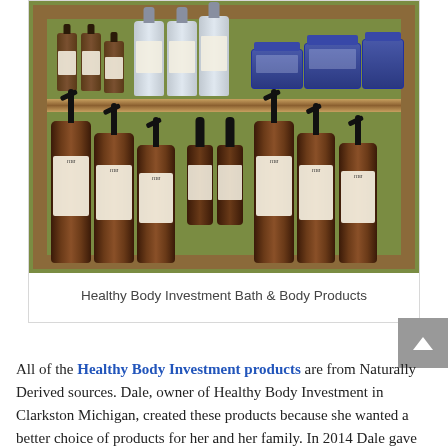[Figure (photo): Photo of Healthy Body Investment Bath & Body Products arranged on a rustic wooden crate shelf. Top shelf shows small bottles and jars; bottom shelf shows larger pump bottles and dropper bottles, all with brown/amber coloring and light labels.]
Healthy Body Investment Bath & Body Products
All of the Healthy Body Investment products are from Naturally Derived sources. Dale, owner of Healthy Body Investment in Clarkston Michigan, created these products because she wanted a better choice of products for her and her family. In 2014 Dale gave up her Therapeutic Message career because she fell in